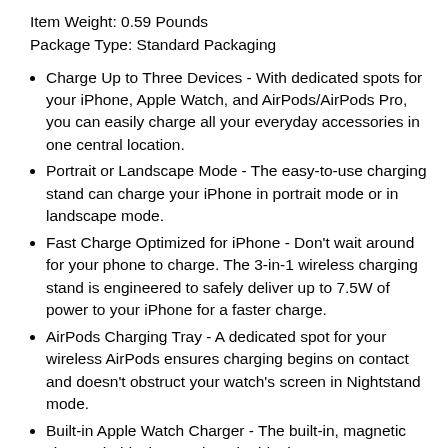Item Weight: 0.59 Pounds
Package Type: Standard Packaging
Charge Up to Three Devices - With dedicated spots for your iPhone, Apple Watch, and AirPods/AirPods Pro, you can easily charge all your everyday accessories in one central location.
Portrait or Landscape Mode - The easy-to-use charging stand can charge your iPhone in portrait mode or in landscape mode.
Fast Charge Optimized for iPhone - Don't wait around for your phone to charge. The 3-in-1 wireless charging stand is engineered to safely deliver up to 7.5W of power to your iPhone for a faster charge.
AirPods Charging Tray - A dedicated spot for your wireless AirPods ensures charging begins on contact and doesn't obstruct your watch's screen in Nightstand mode.
Built-in Apple Watch Charger - The built-in, magnetic charger holds the watch at the ideal